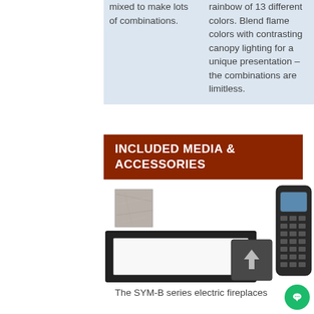mixed to make lots of combinations.
rainbow of 13 different colors. Blend flame colors with contrasting canopy lighting for a unique presentation – the combinations are limitless.
INCLUDED MEDIA & ACCESSORIES
[Figure (photo): Product accessories including a fabric/crystal media swatch, a wide rectangular fireplace frame insert, a remote control, and a small dark control box with an upward arrow]
The SYM-B series electric fireplaces